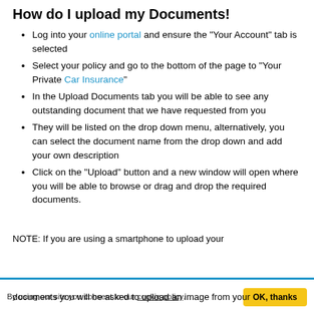How do I upload my Documents!
Log into your online portal and ensure the "Your Account" tab is selected
Select your policy and go to the bottom of the page to "Your Private Car Insurance"
In the Upload Documents tab you will be able to see any outstanding document that we have requested from you
They will be listed on the drop down menu, alternatively, you can select the document name from the drop down and add your own description
Click on the "Upload" button and a new window will open where you will be able to browse or drag and drop the required documents.
NOTE: If you are using a smartphone to upload your documents you will be asked to upload an image from your
By using our site you consent to our cookie policy. OK, thanks